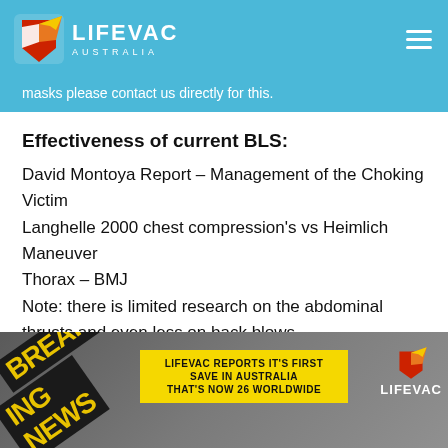LifeVac Australia
masks please contact us directly for this.
Effectiveness of current BLS:
David Montoya Report – Management of the Choking Victim
Langhelle 2000 chest compression's vs Heimlich Maneuver
Thorax – BMJ
Note: there is limited research on the abdominal thrusts and even less on back blows,
[Figure (photo): Breaking news banner image with yellow strip reading 'LIFEVAC REPORTS IT'S FIRST SAVE IN AUSTRALIA THAT'S NOW 26 WORLDWIDE' and LifeVac logo on right]